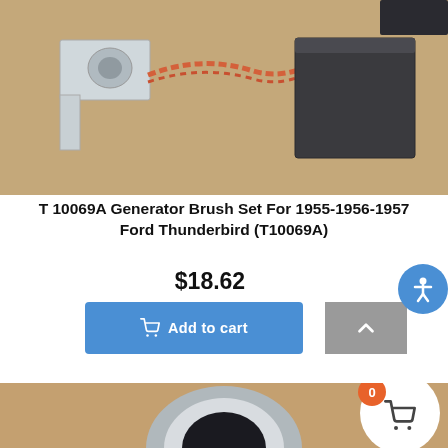[Figure (photo): Close-up photo of generator brush set components: a metal bracket/clip on the left with a twisted copper wire, and a dark grey rectangular carbon brush block on the right, on a tan/brown background.]
T 10069A Generator Brush Set For 1955-1956-1957 Ford Thunderbird (T10069A)
$18.62
[Figure (screenshot): Blue 'Add to cart' button with shopping cart icon, and a grey scroll-to-top button with upward arrow. Also an accessibility icon (blue circle with person icon) partially visible at right edge.]
[Figure (photo): Partial photo of a circular chrome/metal part (appears to be a round gauge or cap) on a tan background, with a white cart badge circle in the bottom-right corner showing a cart icon and orange badge with '0'.]